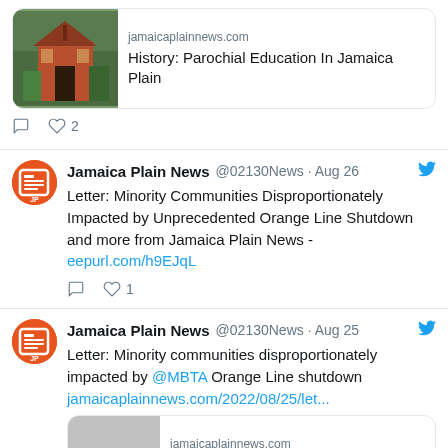[Figure (screenshot): Top tweet card partial view with church building image link preview for 'History: Parochial Education In Jamaica Plain' from jamaicaplainnews.com, with reply and 2 likes icons]
[Figure (screenshot): Tweet by Jamaica Plain News @02130News Aug 26: Letter: Minority Communities Disproportionately Impacted by Unprecedented Orange Line Shutdown and more from Jamaica Plain News - eepurl.com/h9EJqL. Reply and 1 like icons.]
[Figure (screenshot): Tweet by Jamaica Plain News @02130News Aug 25: Letter: Minority communities disproportionately impacted by @MBTA Orange Line shutdown jamaicaplainnews.com/2022/08/25/let... with partial link preview showing jamaicaplainnews.com]